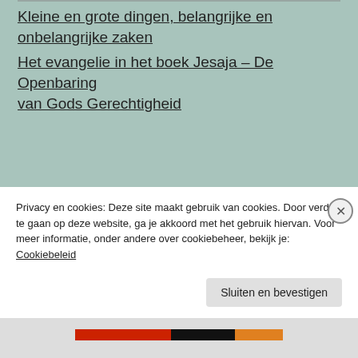Kleine en grote dingen, belangrijke en onbelangrijke zaken
Het evangelie in het boek Jesaja – De Openbaring van Gods Gerechtigheid
Schrijvers, reageerders, aangenaam verasten en volgers
[Figure (photo): Row of avatar/profile images of website followers or contributors]
Privacy en cookies: Deze site maakt gebruik van cookies. Door verder te gaan op deze website, ga je akkoord met het gebruik hiervan. Voor meer informatie, onder andere over cookiebeheer, bekijk je: Cookiebeleid